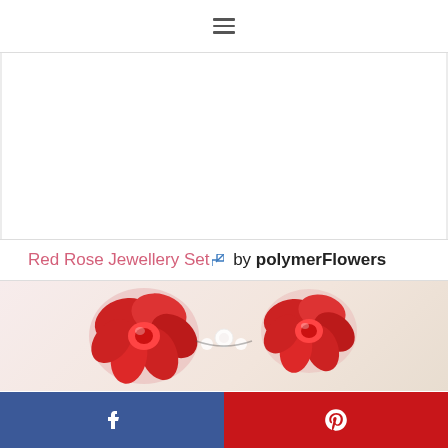≡ (hamburger menu icon)
[Figure (photo): White blank advertisement space area with light gray side borders]
Red Rose Jewellery Set ↗ by polymerFlowers
[Figure (photo): Photo of red rose polymer clay jewellery pieces (rings/flowers) on a light cream/beige background]
Facebook share button | Pinterest share button